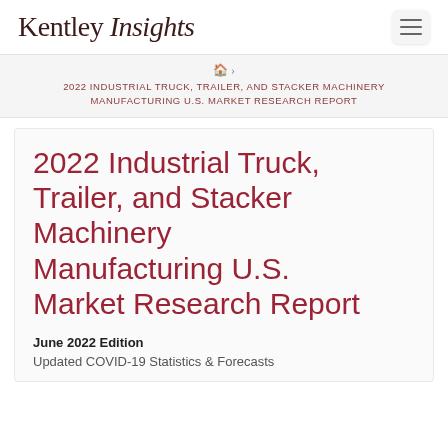Kentley Insights
🏠 › 2022 INDUSTRIAL TRUCK, TRAILER, AND STACKER MACHINERY MANUFACTURING U.S. MARKET RESEARCH REPORT
2022 Industrial Truck, Trailer, and Stacker Machinery Manufacturing U.S. Market Research Report
June 2022 Edition
Updated COVID-19 Statistics & Forecasts